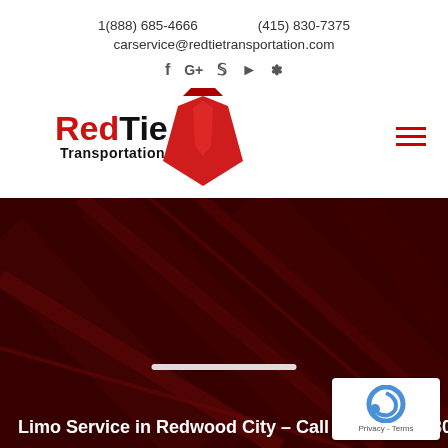1(888) 685-4666   (415) 830-7375
carservice@redtietransportation.com
[Figure (logo): RedTie Transportation logo with red tie graphic]
[Figure (illustration): Dark red tinted photo of limousine interior leather seats]
Limo Service in Redwood City – Call now (415) 830